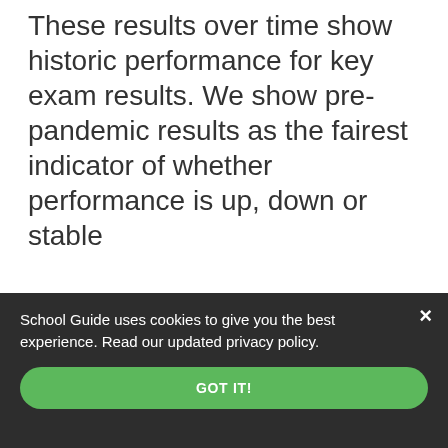These results over time show historic performance for key exam results. We show pre-pandemic results as the fairest indicator of whether performance is up, down or stable
[Figure (screenshot): SchoolGuide.co.uk advertisement banner featuring a padlock icon and an orange 'Unlock Data' button with text 'Submit Your Successful School Application']
School Guide uses cookies to give you the best experience. Read our updated privacy policy.
GOT IT!